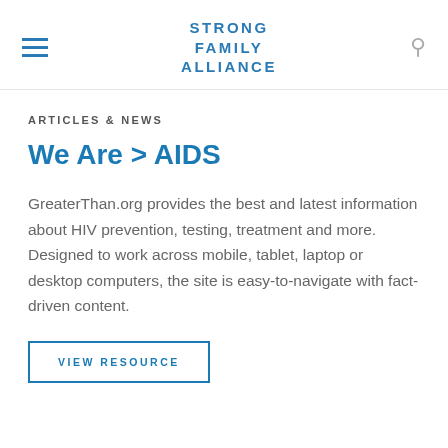STRONG FAMILY ALLIANCE
ARTICLES & NEWS
We Are > AIDS
GreaterThan.org provides the best and latest information about HIV prevention, testing, treatment and more. Designed to work across mobile, tablet, laptop or desktop computers, the site is easy-to-navigate with fact-driven content.
VIEW RESOURCE